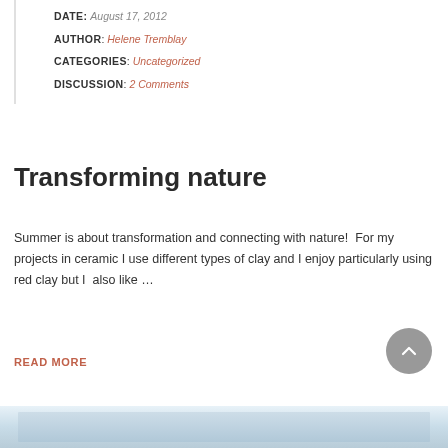DATE: August 17, 2012
AUTHOR: Helene Tremblay
CATEGORIES: Uncategorized
DISCUSSION: 2 Comments
Transforming nature
Summer is about transformation and connecting with nature!  For my projects in ceramic I use different types of clay and I enjoy particularly using red clay but I  also like …
READ MORE
[Figure (photo): Partial view of a seascape/landscape photo at the bottom of the page]